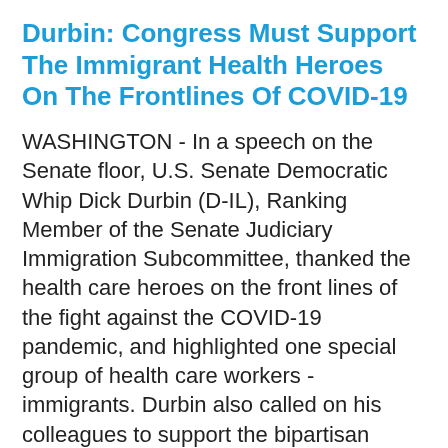Durbin: Congress Must Support The Immigrant Health Heroes On The Frontlines Of COVID-19
WASHINGTON - In a speech on the Senate floor, U.S. Senate Democratic Whip Dick Durbin (D-IL), Ranking Member of the Senate Judiciary Immigration Subcommittee, thanked the health care heroes on the front lines of the fight against the COVID-19 pandemic, and highlighted one special group of health care workers - immigrants. Durbin also called on his colleagues to support the bipartisan Healthcare Workforce Resilience Act, legislation to quickly address the plight of immigrant doctors and nurses w… Continue Reading